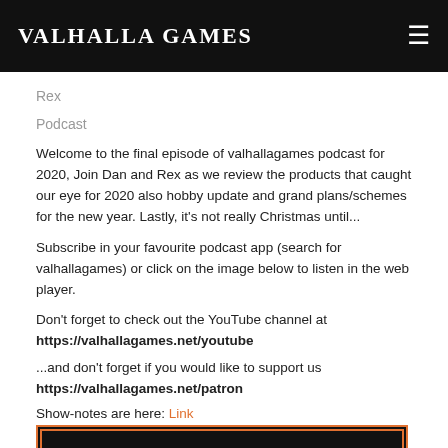Valhalla Games
Rex
Podcast
Welcome to the final episode of valhallagames podcast for 2020, Join Dan and Rex as we review the products that caught our eye for 2020 also hobby update and grand plans/schemes for the new year. Lastly, it's not really Christmas until...
Subscribe in your favourite podcast app (search for valhallagames) or click on the image below to listen in the web player.
Don't forget to check out the YouTube channel at https://valhallagames.net/youtube
...and don't forget if you would like to support us https://valhallagames.net/patron
Show-notes are here: Link
[Figure (screenshot): Partial image preview at the bottom of the page showing a dark bordered frame]